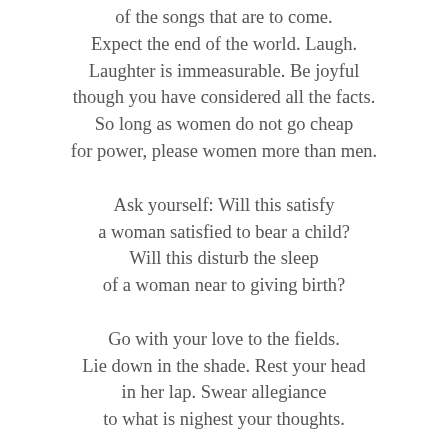of the songs that are to come.
Expect the end of the world. Laugh.
Laughter is immeasurable. Be joyful
though you have considered all the facts.
So long as women do not go cheap
for power, please women more than men.
Ask yourself: Will this satisfy
a woman satisfied to bear a child?
Will this disturb the sleep
of a woman near to giving birth?
Go with your love to the fields.
Lie down in the shade. Rest your head
in her lap. Swear allegiance
to what is nighest your thoughts.
As soon as the generals and the politicos
can predict the motions of your mind,
lose it. Leave it as a sign
to what is of least with them.